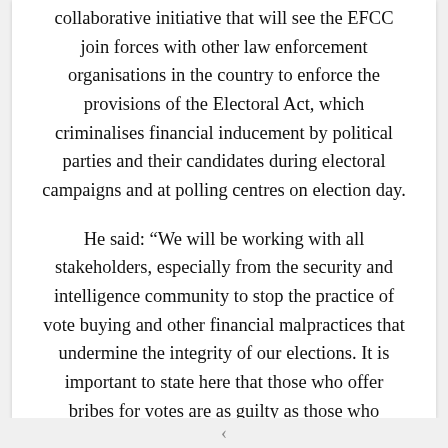collaborative initiative that will see the EFCC join forces with other law enforcement organisations in the country to enforce the provisions of the Electoral Act, which criminalises financial inducement by political parties and their candidates during electoral campaigns and at polling centres on election day.
He said: “We will be working with all stakeholders, especially from the security and intelligence community to stop the practice of vote buying and other financial malpractices that undermine the integrity of our elections. It is important to state here that those who offer bribes for votes are as guilty as those who receive such gratifications. My candid advice to the